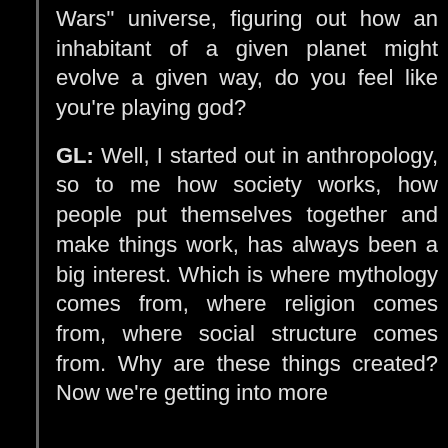Wars" universe, figuring out how an inhabitant of a given planet might evolve a given way, do you feel like you're playing god?
GL: Well, I started out in anthropology, so to me how society works, how people put themselves together and make things work, has always been a big interest. Which is where mythology comes from, where religion comes from, where social structure comes from. Why are these things created? Now we're getting into more